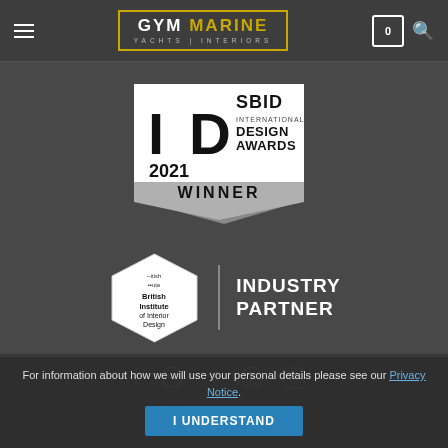GYM MARINE YACHTS | INTERIORS
[Figure (logo): SBID International Design Awards 2021 Winner badge - white ribbon/banner style logo with large I and D letters forming the SBID logo mark, bold text reading SBID INTERNATIONAL DESIGN AWARDS 2021, banner at bottom reading WINNER in bold black on white]
[Figure (logo): British Institute of Interior Design hexagonal white logo badge next to vertical divider line and bold white text reading INDUSTRY PARTNER]
social icons: Facebook, Instagram, Twitter, Pinterest, LinkedIn
For information about how we will use your personal details please see our Privacy Notice.
I UNDERSTAND